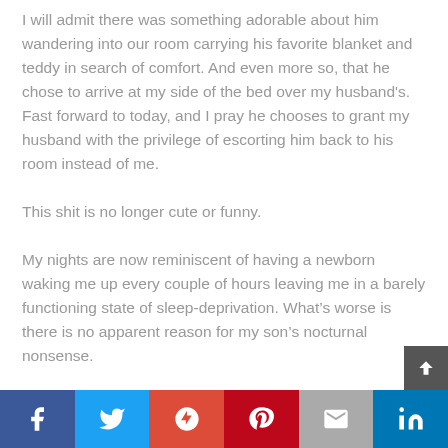I will admit there was something adorable about him wandering into our room carrying his favorite blanket and teddy in search of comfort. And even more so, that he chose to arrive at my side of the bed over my husband's. Fast forward to today, and I pray he chooses to grant my husband with the privilege of escorting him back to his room instead of me.
This shit is no longer cute or funny.
My nights are now reminiscent of having a newborn waking me up every couple of hours leaving me in a barely functioning state of sleep-deprivation. What's worse is there is no apparent reason for my son's nocturnal nonsense.
Every time he chooses to grace us with his unexpected presence after hours, he receives the usual third degree in hopes of receiving answers behind his need for nighttime exploration.